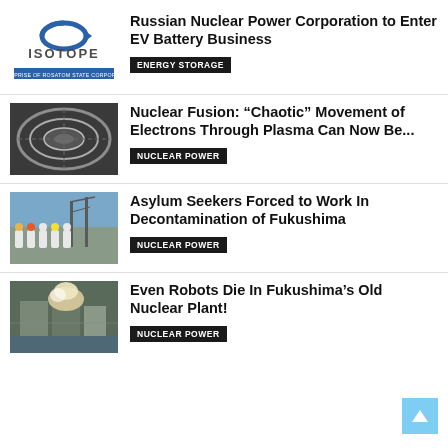[Figure (logo): ISOTOPE logo — blue stylized circular arrow mark above the word ISOTOPE in bold caps, with tagline Enterprise of Rosatom State Corporation on a blue bar]
Russian Nuclear Power Corporation to Enter EV Battery Business
ENERGY STORAGE
[Figure (photo): Interior of a tokamak fusion reactor chamber showing metallic circular structure]
Nuclear Fusion: “Chaotic” Movement of Electrons Through Plasma Can Now Be...
NUCLEAR POWER
[Figure (photo): Workers in white hazmat suits and colored hard hats at Fukushima nuclear plant site]
Asylum Seekers Forced to Work In Decontamination of Fukushima
NUCLEAR POWER
[Figure (photo): Aerial view of Fukushima nuclear plant with explosion damage and smoke]
Even Robots Die In Fukushima’s Old Nuclear Plant!
NUCLEAR POWER